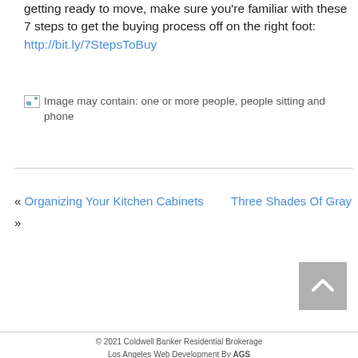getting ready to move, make sure you're familiar with these 7 steps to get the buying process off on the right foot: http://bit.ly/7StepsToBuy
[Figure (photo): Image may contain: one or more people, people sitting and phone]
« Organizing Your Kitchen Cabinets   Three Shades Of Gray »
[Figure (other): Back to top button with upward chevron arrow]
© 2021 Coldwell Banker Residential Brokerage Los Angeles Web Development By AGS